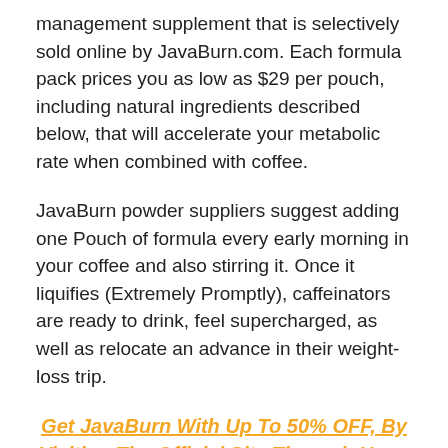management supplement that is selectively sold online by JavaBurn.com. Each formula pack prices you as low as $29 per pouch, including natural ingredients described below, that will accelerate your metabolic rate when combined with coffee.
JavaBurn powder suppliers suggest adding one Pouch of formula every early morning in your coffee and also stirring it. Once it liquifies (Extremely Promptly), caffeinators are ready to drink, feel supercharged, as well as relocate an advance in their weight-loss trip.
Get JavaBurn With Up To 50% OFF, By Visiting The Official Site Through Here->